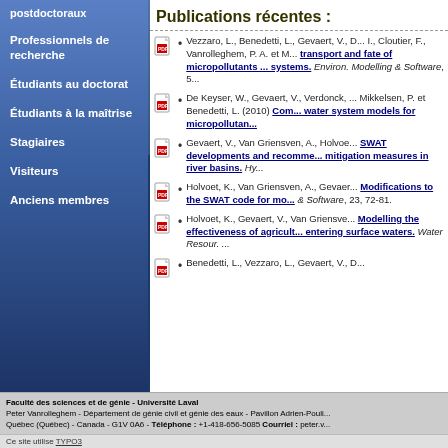postdoctoraux
Professionnels de recherche
Étudiants au doctorat
Étudiants à la maîtrise
Stagiaires
Visiteurs
Anciens membres
Publications récentes :
Vezzaro, L., Benedetti, L., Gevaert, V., D... I., Cloutier, F., Vanrolleghem, P. A. et M... transport and fate of micropollutants ... systems. Environ. Modelling & Software, 5...
De Keyser, W., Gevaert, V., Verdonck, ... Mikkelsen, P. et Benedetti, L. (2010) Com... water system models for micropollutan...
Gevaert, V., Van Griensven, A., Holvoe... SWAT developments and recomme... mitigation measures in river basins. Hy...
Holvoet, K., Van Griensven, A., Gevaer... Modifications to the SWAT code for mo... & Software, 23, 72-81.
Holvoet, K., Gevaert, V., Van Griensve... Modelling the effectiveness of agricult... entering surface waters. Water Resour. ...
Benedetti, L., Vezzaro, L., Gevaert, V., D...
Faculté des sciences et de génie - Université Laval
Peter Vanrolleghem - Département de génie civil et génie des eaux - Pavillon Adrien-Pouli...
Québec (Québec) - Canada - G1V 0A6 - Téléphone : +1-418-656-5085 Courriel : peter.v...
Ce site utilise TYPO3